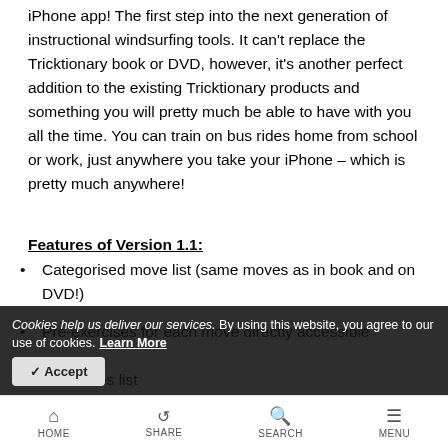iPhone app! The first step into the next generation of instructional windsurfing tools. It can't replace the Tricktionary book or DVD, however, it's another perfect addition to the existing Tricktionary products and something you will pretty much be able to have with you all the time. You can train on bus rides home from school or work, just anywhere you take your iPhone – which is pretty much anywhere!
Features of Version 1.1:
Categorised move list (same moves as in book and on DVD!)
Pre-exercises for each move directly accessible
Favourites list
Cookies help us deliver our services. By using this website, you agree to our use of cookies. Learn More
HOME  SHARE  SEARCH  MENU